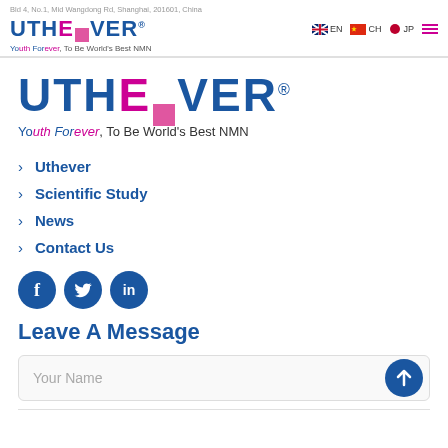Bld 4, No.1, Mid Wangdong Rd, Shanghai, 201601, China
[Figure (logo): UTHEVER logo with stylized text, QR code element, and tagline 'Youth Forever, To Be World's Best NMN']
[Figure (logo): Large UTHEVER logo with QR code element]
Youth Forever, To Be World's Best NMN
Uthever
Scientific Study
News
Contact Us
[Figure (illustration): Social media icons: Facebook, Twitter, LinkedIn circular blue buttons]
Leave A Message
Your Name